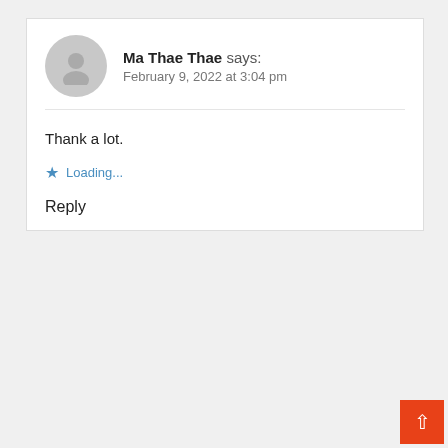Ma Thae Thae says:
February 9, 2022 at 3:04 pm
Thank a lot.
Loading...
Reply
[Figure (photo): Person in historical attire plowing a field with a horse, outdoor scene, black and white horse visible]
Pass Time In The Past: 22 must-see history and heritage sites in New Jersey
Sponsored: New Jersey Division of Travel & Tourism
I like it